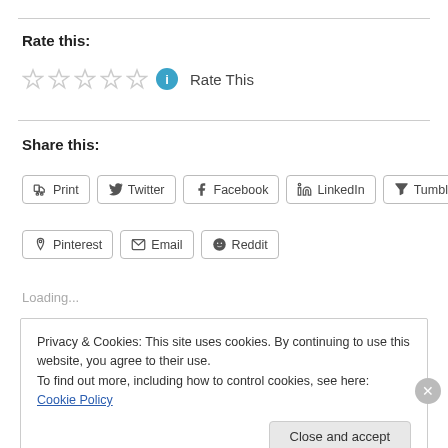Rate this:
[Figure (other): Five empty star rating icons followed by a blue info icon and 'Rate This' text]
Share this:
Print | Twitter | Facebook | LinkedIn | Tumblr | Pinterest | Email | Reddit
Loading...
Privacy & Cookies: This site uses cookies. By continuing to use this website, you agree to their use. To find out more, including how to control cookies, see here: Cookie Policy
Close and accept